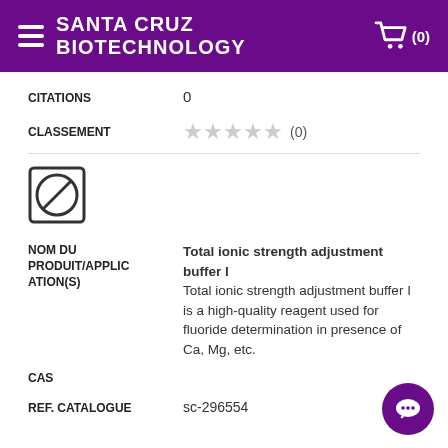SANTA CRUZ BIOTECHNOLOGY
CITATIONS   0
CLASSEMENT   (0)
[Figure (logo): No image available icon — circle with a slash through it, black border]
NOM DU PRODUIT/APPLICATION(S)   Total ionic strength adjustment buffer I — Total ionic strength adjustment buffer I is a high-quality reagent used for fluoride determination in presence of Ca, Mg, etc.
CAS
REF. CATALOGUE   sc-296554